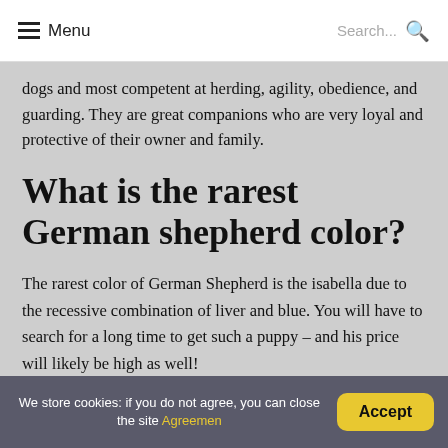Menu  Search...
dogs and most competent at herding, agility, obedience, and guarding. They are great companions who are very loyal and protective of their owner and family.
What is the rarest German shepherd color?
The rarest color of German Shepherd is the isabella due to the recessive combination of liver and blue. You will have to search for a long time to get such a puppy – and his price will likely be high as well!
We store cookies: if you do not agree, you can close the site Agreement  Accept